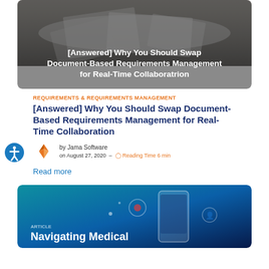[Figure (photo): Black and white photo of scattered papers/documents on a desk with overlaid white text: '[Answered] Why You Should Swap Document-Based Requirements Management for Real-Time Collaboratrion']
REQUIREMENTS & REQUIREMENTS MANAGEMENT
[Answered] Why You Should Swap Document-Based Requirements Management for Real-Time Collaboration
by Jama Software on August 27, 2020 – Reading Time 6 min
Read more
[Figure (illustration): Blue/teal gradient background with smartphone and digital icons, partially visible. Text at bottom: 'Navigating Medical']